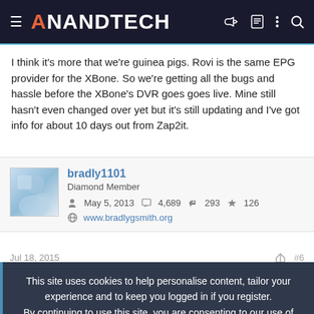AnandTech
I think it's more that we're guinea pigs. Rovi is the same EPG provider for the XBone. So we're getting all the bugs and hassle before the XBone's DVR goes goes live. Mine still hasn't even changed over yet but it's still updating and I've got info for about 10 days out from Zap2it.
bradly1101
Diamond Member
May 5, 2013   4,689   293   126
www.bradlygsmith.org
Jul 18, 2015   #6
This site uses cookies to help personalise content, tailor your experience and to keep you logged in if you register.
By continuing to use this site, you are consenting to our use of cookies.